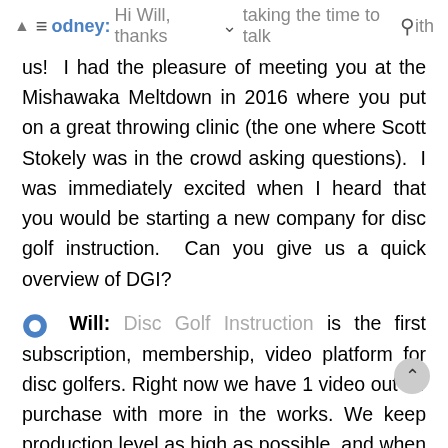Rodney: Hi Will, thanks for taking the time to talk with us!
Rodney: Hi Will, thanks for taking the time to talk with us!  I had the pleasure of meeting you at the Mishawaka Meltdown in 2016 where you put on a great throwing clinic (the one where Scott Stokely was in the crowd asking questions).  I was immediately excited when I heard that you would be starting a new company for disc golf instruction.  Can you give us a quick overview of DGI?
Will: Disc Golf Instruction is the first subscription, membership, video platform for disc golfers. Right now we have 1 video out for purchase with more in the works. We keep production level as high as possible, and when it comes to filmed clinics any paid member of the site has access to those when released. We currently have plans for Advanced and Professional series coming as soon as possible.